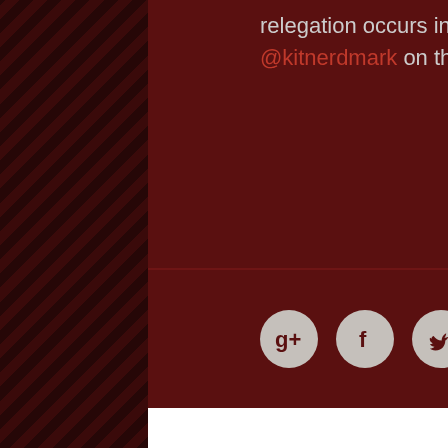relegation occurs in MLS. You can follow him @kitnerdmark on the twitterz.
[Figure (infographic): Three circular social media share buttons: Google+, Facebook, and Twitter]
Submit a Comment
Your email address will not be published. Required fields